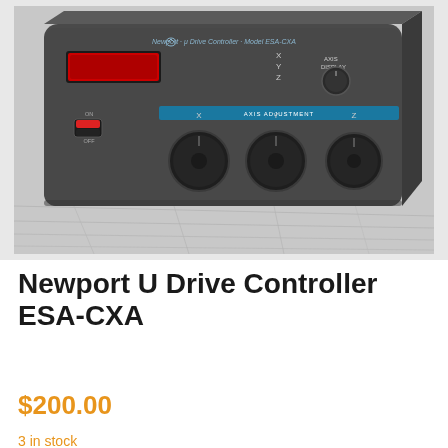[Figure (photo): Photo of a Newport μ Drive Controller Model ESA-CXA. A dark gray rectangular electronic instrument box with a red LED display on the upper left, X/Y/Z axis selector switches, AXIS DISPLAY label, three black rotary knobs labeled X, Y, Z for axis adjustment in an AXIS ADJUSTMENT section with blue highlight strip, and a red rocker power switch labeled ON/OFF on the left side. The device sits on a gray concrete or metal surface.]
Newport U Drive Controller ESA-CXA
$200.00
3 in stock